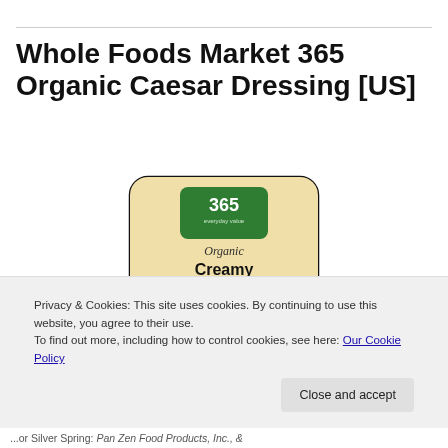Whole Foods Market 365 Organic Caesar Dressing [US]
[Figure (photo): Product photo of 365 Organic Creamy Caesar Dressing bottle/packet with green label showing '365 everyday value' branding, teal leaves and triangle design elements, with USDA Organic seal]
Privacy & Cookies: This site uses cookies. By continuing to use this website, you agree to their use.
To find out more, including how to control cookies, see here: Our Cookie Policy
Close and accept
...or Silver Spring: Pan Zen Food Products, Inc., &